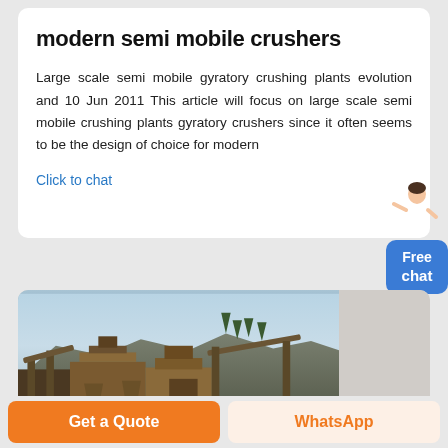modern semi mobile crushers
Large scale semi mobile gyratory crushing plants evolution and 10 Jun 2011 This article will focus on large scale semi mobile crushing plants gyratory crushers since it often seems to be the design of choice for modern
Click to chat
[Figure (photo): Photograph of large-scale semi mobile crushing plant machinery at a quarry site with rocky hillside and trees in background]
Get a Quote
WhatsApp